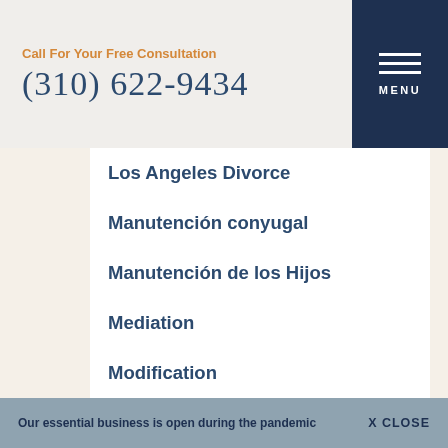Call For Your Free Consultation
(310) 622-9434
Los Angeles Divorce
Manutención conyugal
Manutención de los Hijos
Mediation
Modification
Name Change
Órdenes de Restricción
Órdenes Temporales
Our essential business is open during the pandemic   X CLOSE